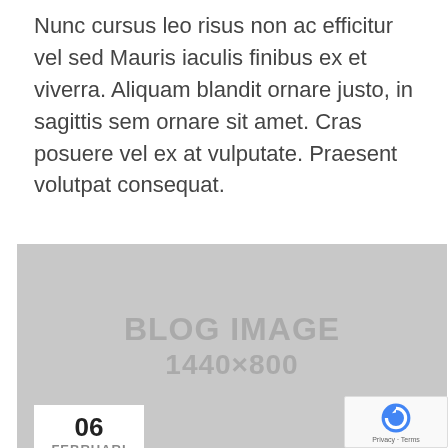Nunc cursus leo risus non ac efficitur vel sed Mauris iaculis finibus ex et viverra. Aliquam blandit ornare justo, in sagittis sem ornare sit amet. Cras posuere vel ex at vulputate. Praesent volutpat consequat.
READ MORE
[Figure (other): Gray placeholder image with text 'BLOG IMAGE 1440×800']
06 FEBRUARI